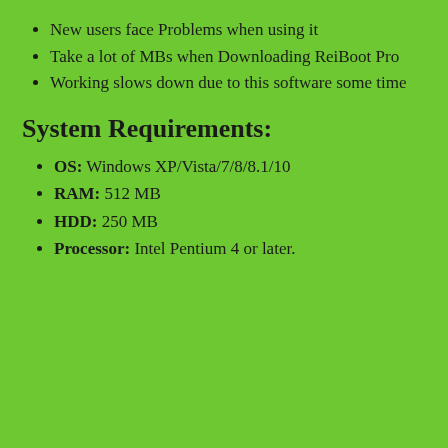New users face Problems when using it
Take a lot of MBs when Downloading ReiBoot Pro
Working slows down due to this software some time
System Requirements:
OS: Windows XP/Vista/7/8/8.1/10
RAM: 512 MB
HDD: 250 MB
Processor: Intel Pentium 4 or later.